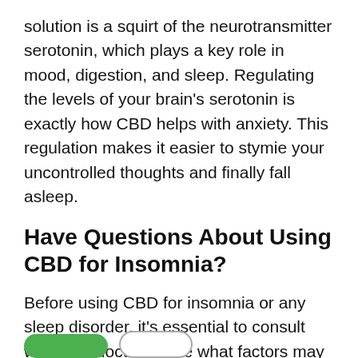solution is a squirt of the neurotransmitter serotonin, which plays a key role in mood, digestion, and sleep. Regulating the levels of your brain's serotonin is exactly how CBD helps with anxiety. This regulation makes it easier to stymie your uncontrolled thoughts and finally fall asleep.
Have Questions About Using CBD for Insomnia?
Before using CBD for insomnia or any sleep disorder, it's essential to consult with your doctor to see what factors may be causing your sleeplessness and whether CBD can help. You can also reach out to SmartCBDHub.com's knowledgeable team for answers, too.